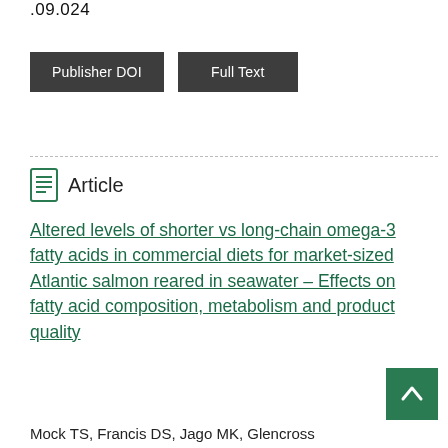.09.024
Publisher DOI   Full Text
Article
Altered levels of shorter vs long-chain omega-3 fatty acids in commercial diets for market-sized Atlantic salmon reared in seawater – Effects on fatty acid composition, metabolism and product quality
Mock TS, Francis DS, Jago MK, Glencross